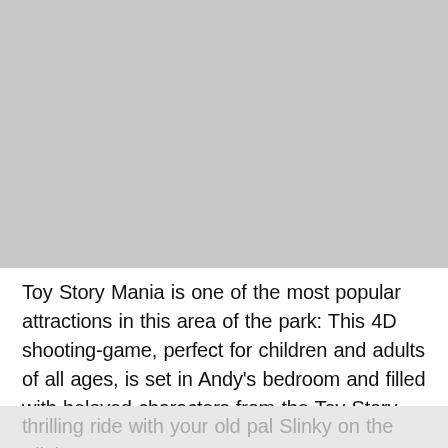[Figure (photo): Large grey placeholder image occupying the top portion of the page]
Toy Story Mania is one of the most popular attractions in this area of the park: This 4D shooting-game, perfect for children and adults of all ages, is set in Andy's bedroom and filled with beloved characters from the Toy Story movies. You can go for a more thrilling ride with your old pal Slinky on the Slinky Dog